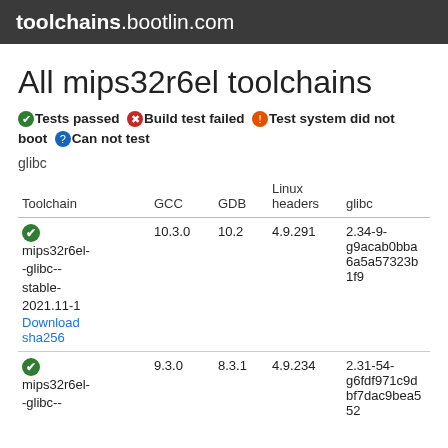toolchains.bootlin.com
All mips32r6el toolchains
✓Tests passed ✗Build test failed ⚠Test system did not boot ?Can not test
glibc
| Toolchain | GCC | GDB | Linux headers | glibc |
| --- | --- | --- | --- | --- |
| ✓ mips32r6el--glibc--stable-2021.11-1
Download
sha256 | 10.3.0 | 10.2 | 4.9.291 | 2.34-9-g9acab0bba6a5a57323b1f9... |
| ✓ mips32r6el--glibc-- | 9.3.0 | 8.3.1 | 4.9.234 | 2.31-54-g6fdf971c9dbf7dac9bea552... |